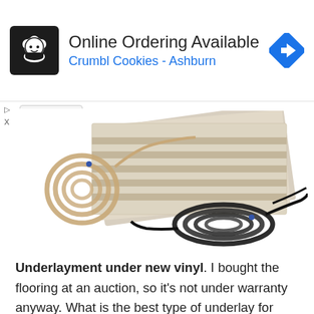[Figure (screenshot): Advertisement banner for Crumbl Cookies - Ashburn with logo on left, text 'Online Ordering Available' and 'Crumbl Cookies - Ashburn' in blue, and a blue diamond navigation arrow icon on the right]
[Figure (photo): Product photo showing a radiant floor heating mat/underlayment (beige/grey striped flexible mat) with a coil of tan/beige wire and a coil of black wire against a white background]
Underlayment under new vinyl. I bought the flooring at an auction, so it's not under warranty anyway. What is the best type of underlay for vinyl flooring? You can use this underlayment for both laminated and under floating floor...